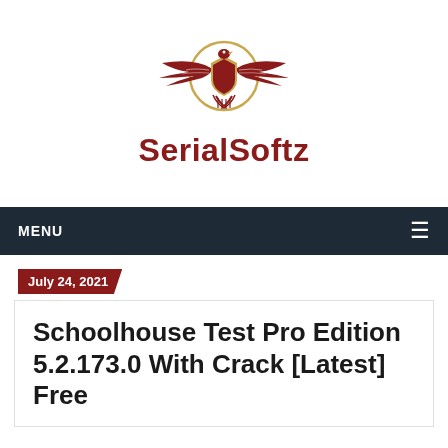[Figure (logo): SerialSoftz logo: eagle with wings spread over a shield, inside a gold circle, with 'SerialSoftz' text below in dark red]
MENU
July 24, 2021
Schoolhouse Test Pro Edition 5.2.173.0 With Crack [Latest] Free